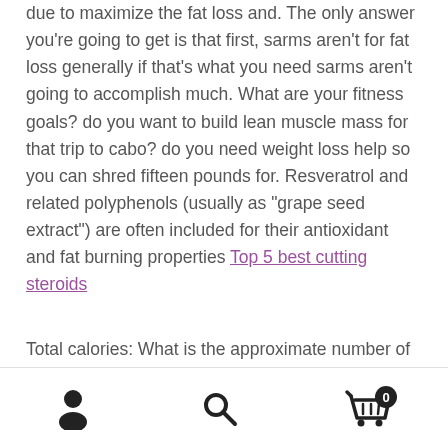due to maximize the fat loss and. The only answer you're going to get is that first, sarms aren't for fat loss generally if that's what you need sarms aren't going to accomplish much. What are your fitness goals? do you want to build lean muscle mass for that trip to cabo? do you need weight loss help so you can shred fifteen pounds for. Resveratrol and related polyphenols (usually as "grape seed extract") are often included for their antioxidant and fat burning properties Top 5 best cutting steroids
Total calories: What is the approximate number of calories you need to eat, which are calories left over after the amount you've ingested? Supplies: 1 pound of lean muscle. The effective treatment procedure involves oral
[person icon] [search icon] [cart icon with badge 0]